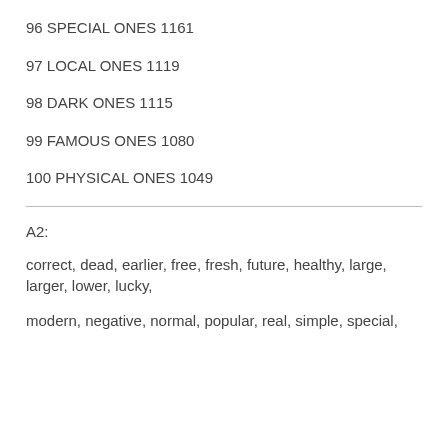96 SPECIAL ONES 1161
97 LOCAL ONES 1119
98 DARK ONES 1115
99 FAMOUS ONES 1080
100 PHYSICAL ONES 1049
A2:
correct, dead, earlier, free, fresh, future, healthy, large, larger, lower, lucky,
modern, negative, normal, popular, real, simple, special,